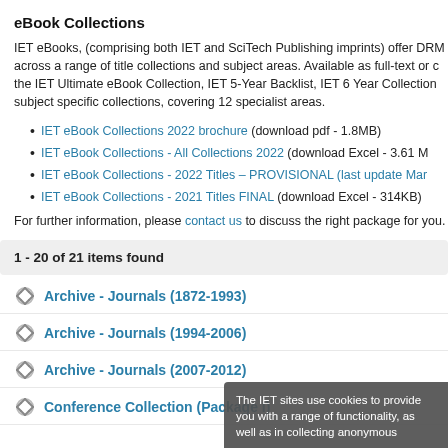eBook Collections
IET eBooks, (comprising both IET and SciTech Publishing imprints) offer DRM across a range of title collections and subject areas. Available as full-text or c the IET Ultimate eBook Collection, IET 5-Year Backlist, IET 6 Year Collection subject specific collections, covering 12 specialist areas.
IET eBook Collections 2022 brochure (download pdf - 1.8MB)
IET eBook Collections - All Collections 2022 (download Excel - 3.61 M
IET eBook Collections - 2022 Titles – PROVISIONAL (last update Mar
IET eBook Collections - 2021 Titles FINAL (download Excel - 314KB)
For further information, please contact us to discuss the right package for you.
1 - 20 of 21 items found
Archive - Journals (1872-1993)
Archive - Journals (1994-2006)
Archive - Journals (2007-2012)
Conference Collection (Package I)
The IET sites use cookies to provide you with a range of functionality, as well as in collecting anonymous